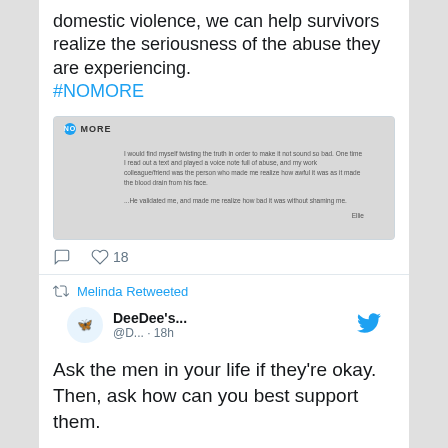domestic violence, we can help survivors realize the seriousness of the abuse they are experiencing. #NOMORE
[Figure (screenshot): Embedded NO MORE card with quote about realizing abuse through colleague's reaction and validation]
18 (heart icon)
Melinda Retweeted
DeeDee's... @D... · 18h
Ask the men in your life if they're okay. Then, ask how can you best support them.